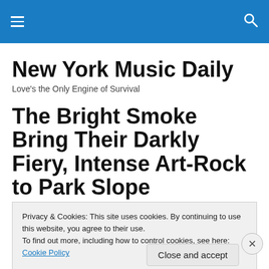New York Music Daily — top navigation bar with hamburger menu and search icon
New York Music Daily
Love's the Only Engine of Survival
The Bright Smoke Bring Their Darkly Fiery, Intense Art-Rock to Park Slope
Privacy & Cookies: This site uses cookies. By continuing to use this website, you agree to their use. To find out more, including how to control cookies, see here: Cookie Policy
Close and accept